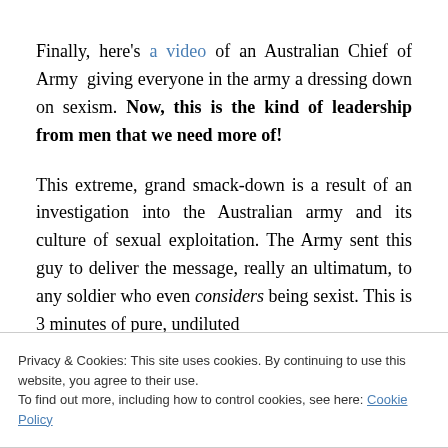Finally, here's a video of an Australian Chief of Army giving everyone in the army a dressing down on sexism. Now, this is the kind of leadership from men that we need more of!
This extreme, grand smack-down is a result of an investigation into the Australian army and its culture of sexual exploitation. The Army sent this guy to deliver the message, really an ultimatum, to any soldier who even considers being sexist. This is 3 minutes of pure, undiluted
Privacy & Cookies: This site uses cookies. By continuing to use this website, you agree to their use.
To find out more, including how to control cookies, see here: Cookie Policy